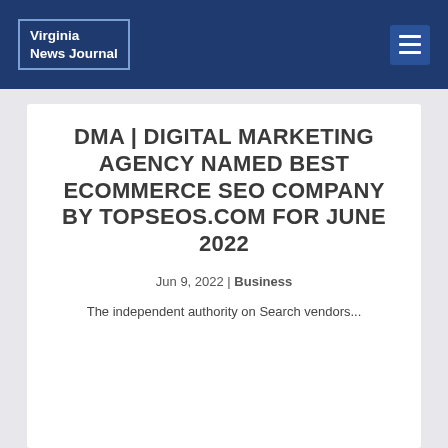Virginia News Journal
DMA | DIGITAL MARKETING AGENCY NAMED BEST ECOMMERCE SEO COMPANY BY TOPSEOS.COM FOR JUNE 2022
Jun 9, 2022 | Business
The independent authority on Search vendors...